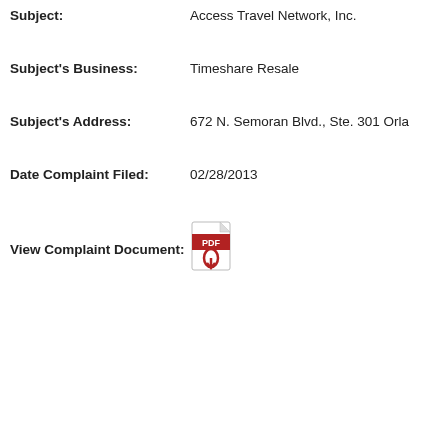Subject: Access Travel Network, Inc.
Subject's Business: Timeshare Resale
Subject's Address: 672 N. Semoran Blvd., Ste. 301 Orla
Date Complaint Filed: 02/28/2013
View Complaint Document:
[Figure (other): PDF file icon in red and white]